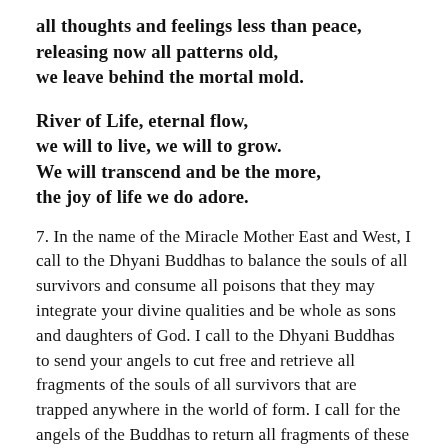all thoughts and feelings less than peace,
releasing now all patterns old,
we leave behind the mortal mold.
River of Life, eternal flow,
we will to live, we will to grow.
We will transcend and be the more,
the joy of life we do adore.
7. In the name of the Miracle Mother East and West, I call to the Dhyani Buddhas to balance the souls of all survivors and consume all poisons that they may integrate your divine qualities and be whole as sons and daughters of God. I call to the Dhyani Buddhas to send your angels to cut free and retrieve all fragments of the souls of all survivors that are trapped anywhere in the world of form. I call for the angels of the Buddhas to return all fragments of these souls in the eternal now. I call to the angels of